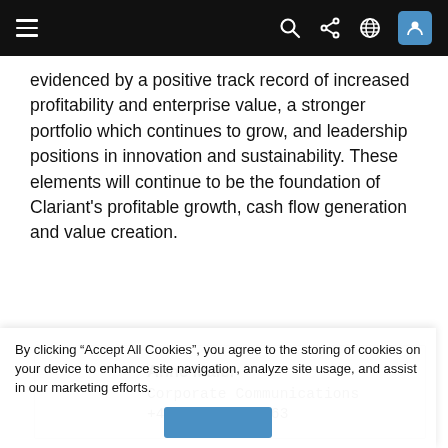[Navigation bar with menu, search, share, globe, and user icons]
evidenced by a positive track record of increased profitability and enterprise value, a stronger portfolio which continues to grow, and leadership positions in innovation and sustainability. These elements will continue to be the foundation of Clariant's profitable growth, cash flow generation and value creation.
Anne Maier
Corporate Communications
+41 61 469 63 63
By clicking “Accept All Cookies”, you agree to the storing of cookies on your device to enhance site navigation, analyze site usage, and assist in our marketing efforts.